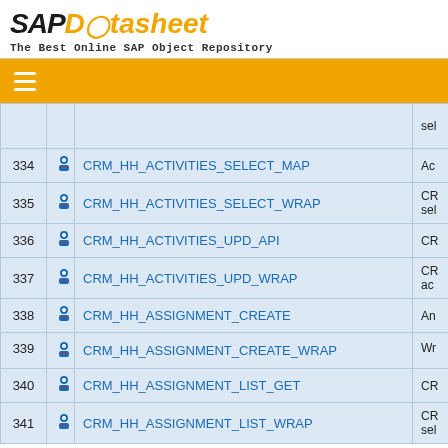SAP Datasheet - The Best Online SAP Object Repository
| # |  | Name | Description |
| --- | --- | --- | --- |
|  |  |  | sel |
| 334 |  | CRM_HH_ACTIVITIES_SELECT_MAP | Ac |
| 335 |  | CRM_HH_ACTIVITIES_SELECT_WRAP | CR sel |
| 336 |  | CRM_HH_ACTIVITIES_UPD_API | CR |
| 337 |  | CRM_HH_ACTIVITIES_UPD_WRAP | CR ac |
| 338 |  | CRM_HH_ASSIGNMENT_CREATE | An |
| 339 |  | CRM_HH_ASSIGNMENT_CREATE_WRAP | Wr |
| 340 |  | CRM_HH_ASSIGNMENT_LIST_GET | CR |
| 341 |  | CRM_HH_ASSIGNMENT_LIST_WRAP | CR sel |